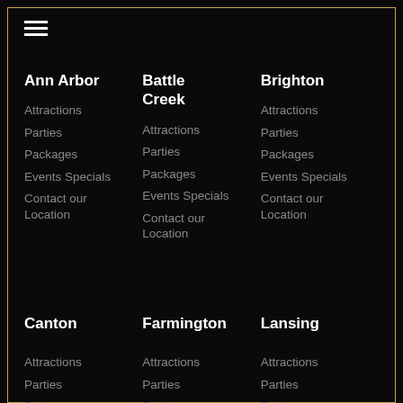Ann Arbor
Attractions
Parties
Packages
Events Specials
Contact our Location
Battle Creek
Attractions
Parties
Packages
Events Specials
Contact our Location
Brighton
Attractions
Parties
Packages
Events Specials
Contact our Location
Canton
Attractions
Parties
Packages
Farmington
Attractions
Parties
Packages
Lansing
Attractions
Parties
Packages